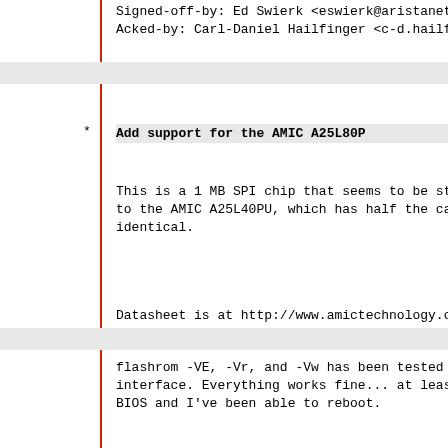Signed-off-by: Ed Swierk <eswierk@aristanetworks...
Acked-by: Carl-Daniel Hailfinger <c-d.hailfinge...
* Add support for the AMIC A25L80P
This is a 1 MB SPI chip that seems to be straig... to the AMIC A25L40PU, which has half the capaci... identical.
Datasheet is at http://www.amictechnology.com/p...
flashrom -VE, -Vr, and -Vw has been tested usin... interface. Everything works fine... at least, I... BIOS and I've been able to reboot.
Corresponding to flashrom svn r1075.
Signed-off-by: Daniel Lenski <dlenski@gmail.com...
Acked-by: Michael Karcher <flashrom@mkarcher.di...
* Add Winbond W25Q64 support
Tested.
Corresponding to flashrom svn r1059.